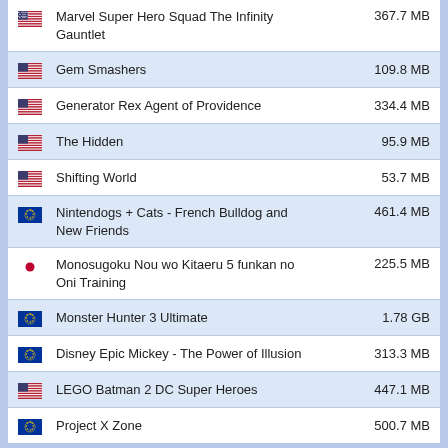Marvel Super Hero Squad The Infinity Gauntlet — 367.7 MB
Gem Smashers — 109.8 MB
Generator Rex Agent of Providence — 334.4 MB
The Hidden — 95.9 MB
Shifting World — 53.7 MB
Nintendogs + Cats - French Bulldog and New Friends — 461.4 MB
Monosugoku Nou wo Kitaeru 5 funkan no Oni Training — 225.5 MB
Monster Hunter 3 Ultimate — 1.78 GB
Disney Epic Mickey - The Power of Illusion — 313.3 MB
LEGO Batman 2 DC Super Heroes — 447.1 MB
Project X Zone — 500.7 MB